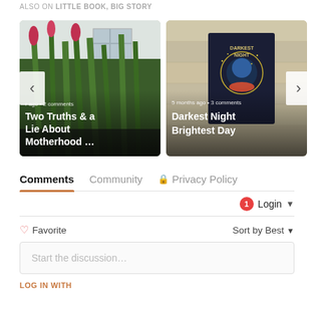ALSO ON LITTLE BOOK, BIG STORY
[Figure (photo): Carousel with two blog post cards. Left card: photo of tall green plants/irises in front of a white house, with overlay text 'r ago · 2 comments' and title 'Two Truths & a Lie About Motherhood …'. Right card: photo of a dark book cover 'Darkest Night' with overlay text '5 months ago · 3 comments' and title 'Darkest Night Brightest Day'. Left and right navigation arrows visible.]
Comments
Community
🔒 Privacy Policy
1  Login ▾
♡ Favorite
Sort by Best ▾
Start the discussion…
LOG IN WITH